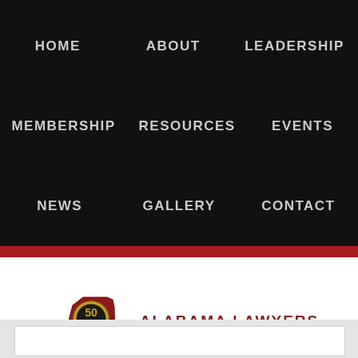HOME  ABOUT  LEADERSHIP  MEMBERSHIP  RESOURCES  EVENTS  NEWS  GALLERY  CONTACT
[Figure (logo): Alabama Lawyers Association logo: Alabama state silhouette in dark red with '50 YEARS ANNIVERSARY ALA 1971-2021' badge, beside text 'ALABAMA LAWYERS ASSOCIATION - An affiliate member of the National Bar Association']